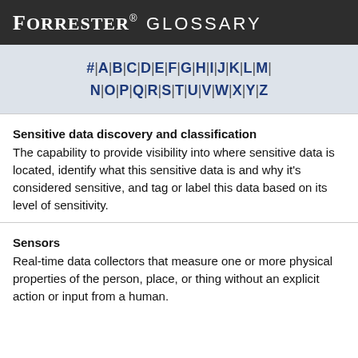FORRESTER GLOSSARY
# | A | B | C | D | E | F | G | H | I | J | K | L | M | N | O | P | Q | R | S | T | U | V | W | X | Y | Z
Sensitive data discovery and classification
The capability to provide visibility into where sensitive data is located, identify what this sensitive data is and why it's considered sensitive, and tag or label this data based on its level of sensitivity.
Sensors
Real-time data collectors that measure one or more physical properties of the person, place, or thing without an explicit action or input from a human.